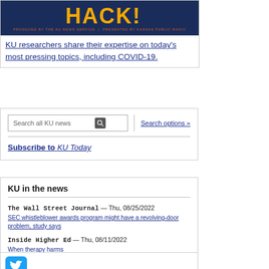[Figure (logo): HACK! podcast logo banner - dark blue background with yellow/orange HACK! text and subtitle 'PRODUCED BY THE KU NEWS SERVICE | PRESENTED BY KANSAS PUBLIC RADIO']
KU researchers share their expertise on today's most pressing topics, including COVID-19.
Search all KU news | Search options »
Subscribe to KU Today
KU in the news
The Wall Street Journal — Thu, 08/25/2022
SEC whistleblower awards program might have a revolving-door problem, study says
Inside Higher Ed — Thu, 08/11/2022
When therapy harms
[Figure (logo): Twitter bird logo icon, blue rounded square]